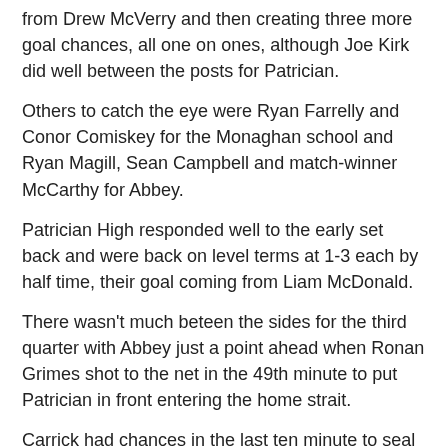from Drew McVerry and then creating three more goal chances, all one on ones, although Joe Kirk did well between the posts for Patrician.
Others to catch the eye were Ryan Farrelly and Conor Comiskey for the Monaghan school and Ryan Magill, Sean Campbell and match-winner McCarthy for Abbey.
Patrician High responded well to the early set back and were back on level terms at 1-3 each by half time, their goal coming from Liam McDonald.
There wasn't much beteen the sides for the third quarter with Abbey just a point ahead when Ronan Grimes shot to the net in the 49th minute to put Patrician in front entering the home strait.
Carrick had chances in the last ten minute to seal the issue, but were wide on four occasions while at the other end, Liam McManus and Sean Rock pointed to level the arguement before McCarthy stepped to cap a fine individual performance with the winning point.
Abbey CBS : Drew McVerry (1-0), Niall Toner (0-5, 0-3 frees), Liam McManus (0-2), Sean Rock (0-2), Dara O'Callaghan (0-1), Paddy Mccarthy (0-1).